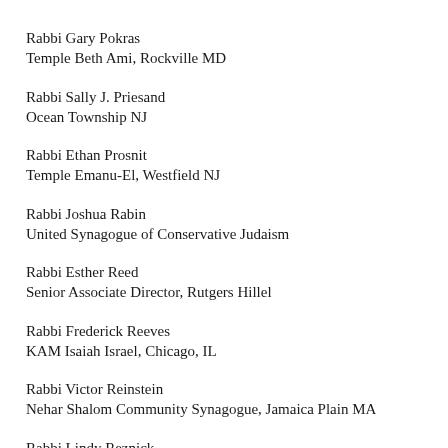Rabbi Gary Pokras
Temple Beth Ami, Rockville MD
Rabbi Sally J. Priesand
Ocean Township NJ
Rabbi Ethan Prosnit
Temple Emanu-El, Westfield NJ
Rabbi Joshua Rabin
United Synagogue of Conservative Judaism
Rabbi Esther Reed
Senior Associate Director, Rutgers Hillel
Rabbi Frederick Reeves
KAM Isaiah Israel, Chicago, IL
Rabbi Victor Reinstein
Nehar Shalom Community Synagogue, Jamaica Plain MA
Rabbi Lindy Reznick
Congregation Emanu El, Redlands CA
Prof. Monika Rice
Gratz College